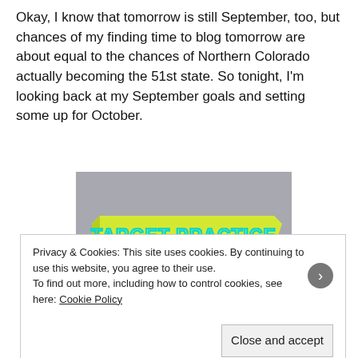Okay, I know that tomorrow is still September, too, but chances of my finding time to blog tomorrow are about equal to the chances of Northern Colorado actually becoming the 51st state. So tonight, I'm looking back at my September goals and setting some up for October.
[Figure (illustration): An illustration with a gray background showing a yellow ribbon banner with cyan outlined block text reading 'TARGET PRACTICE', and below it a pink bullseye target with an arrow hitting it.]
Privacy & Cookies: This site uses cookies. By continuing to use this website, you agree to their use.
To find out more, including how to control cookies, see here: Cookie Policy